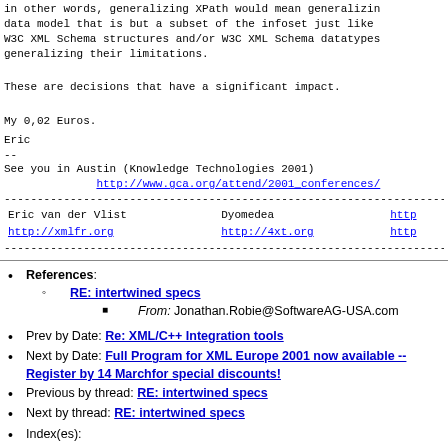in other words, generalizing XPath would mean generalizin data model that is but a subset of the infoset just like W3C XML Schema structures and/or W3C XML Schema datatypes generalizing their limitations.
These are decisions that have a significant impact.
My 0,02 Euros.
Eric
--
See you in Austin (Knowledge Technologies 2001)
     http://www.gca.org/attend/2001_conferences/
----------------------------------------------
Eric van der Vlist    Dyomedea    http...
http://xmlfr.org      http://4xt.org    http...
----------------------------------------------
References: RE: intertwined specs — From: Jonathan.Robie@SoftwareAG-USA.com
Prev by Date: Re: XML/C++ Integration tools
Next by Date: Full Program for XML Europe 2001 now available -- Register by 14 Marchfor special discounts!
Previous by thread: RE: intertwined specs
Next by thread: RE: intertwined specs
Index(es):